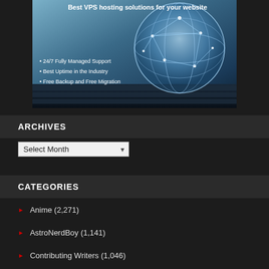[Figure (illustration): VPS hosting advertisement banner with globe graphic on keyboard background. Text: 'Best VPS hosting solutions for your website', '• 24/7 Fully Managed Support', '• Best Uptime in the Industry', '• Free Backup and Free Migration']
ARCHIVES
[Figure (other): Dropdown select element labeled 'Select Month']
CATEGORIES
Anime (2,271)
AstroNerdBoy (1,141)
Contributing Writers (1,046)
Japan (45)